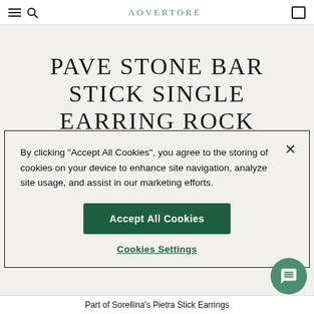AOVERTORE
PAVE STONE BAR STICK SINGLE EARRING ROCK
By clicking "Accept All Cookies", you agree to the storing of cookies on your device to enhance site navigation, analyze site usage, and assist in our marketing efforts.
Accept All Cookies
Cookies Settings
Part of Sorellina's Pietra Stick Earrings